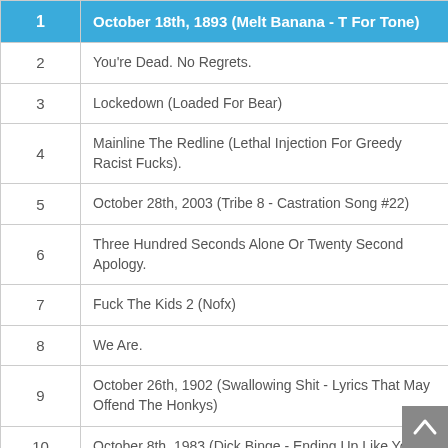| # | Title |
| --- | --- |
| 1 | October 18th, 1893 (Melt Banana - T For Tone) |
| 2 | You're Dead. No Regrets. |
| 3 | Lockedown (Loaded For Bear) |
| 4 | Mainline The Redline (Lethal Injection For Greedy Racist Fucks). |
| 5 | October 28th, 2003 (Tribe 8 - Castration Song #22) |
| 6 | Three Hundred Seconds Alone Or Twenty Second Apology. |
| 7 | Fuck The Kids 2 (Nofx) |
| 8 | We Are. |
| 9 | October 26th, 1902 (Swallowing Shit - Lyrics That May Offend The Honkys) |
| 10 | October 8th, 1983 (Dick Binge - Ending Up Like You) |
| 11 | October 11th, 1965 (Fucking Dyke Bitches - Boys Will Be Boys) |